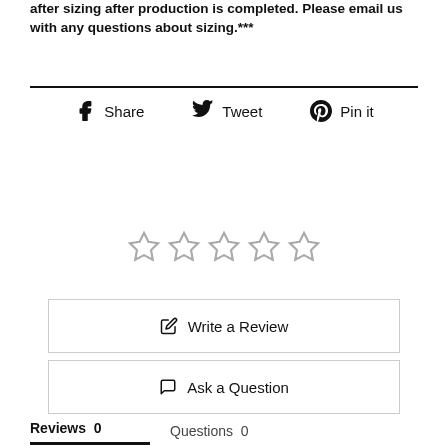after sizing after production is completed. Please email us with any questions about sizing.***
[Figure (infographic): Social sharing buttons: Facebook Share, Twitter Tweet, Pinterest Pin it]
[Figure (infographic): Five empty star rating icons]
Write a Review
Ask a Question
Reviews 0
Questions 0